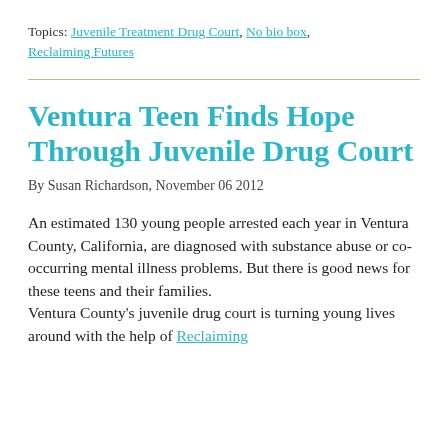Topics: Juvenile Treatment Drug Court, No bio box, Reclaiming Futures
Ventura Teen Finds Hope Through Juvenile Drug Court
By Susan Richardson, November 06 2012
An estimated 130 young people arrested each year in Ventura County, California, are diagnosed with substance abuse or co-occurring mental illness problems. But there is good news for these teens and their families. Ventura County's juvenile drug court is turning young lives around with the help of Reclaiming
Futures